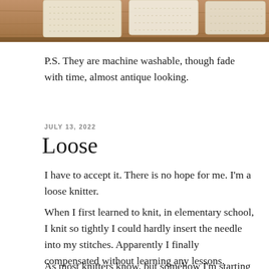[Figure (photo): Photograph of knitted fabric swatches laid out on a wooden surface, showing cream/off-white knitted pieces]
P.S. They are machine washable, though fade with time, almost antique looking.
JULY 13, 2022
Loose
I have to accept it. There is no hope for me. I'm a loose knitter.
When I first learned to knit, in elementary school, I knit so tightly I could hardly insert the needle into my stitches. Apparently I finally compensated without learning any lessons.
As most knitters know, but somehow I'm starting to